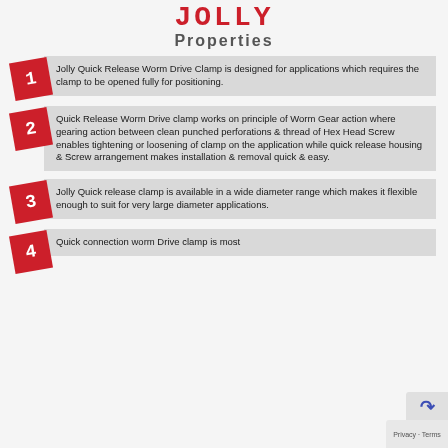JOLLY
Properties
Jolly Quick Release Worm Drive Clamp is designed for applications which requires the clamp to be opened fully for positioning.
Quick Release Worm Drive clamp works on principle of Worm Gear action where gearing action between clean punched perforations & thread of Hex Head Screw enables tightening or loosening of clamp on the application while quick release housing & Screw arrangement makes installation & removal quick & easy.
Jolly Quick release clamp is available in a wide diameter range which makes it flexible enough to suit for very large diameter applications.
Quick connection worm Drive clamp is most